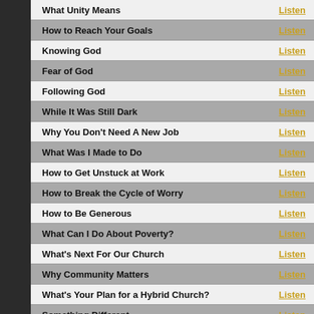What Unity Means | Listen
How to Reach Your Goals | Listen
Knowing God | Listen
Fear of God | Listen
Following God | Listen
While It Was Still Dark | Listen
Why You Don't Need A New Job | Listen
What Was I Made to Do | Listen
How to Get Unstuck at Work | Listen
How to Break the Cycle of Worry | Listen
How to Be Generous | Listen
What Can I Do About Poverty? | Listen
What's Next For Our Church | Listen
Why Community Matters | Listen
What's Your Plan for a Hybrid Church? | Listen
Something Different | Listen
For and Foundation…